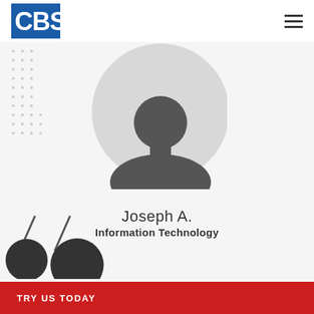[Figure (logo): CBS company logo — white text 'CBS' on blue square background]
[Figure (illustration): Generic grey silhouette avatar of a person inside a circle, with a dot/cross pattern decoration on the left side]
Joseph A.
Information Technology
[Figure (illustration): Large red and black quotation mark decorative element at bottom left]
TRY US TODAY